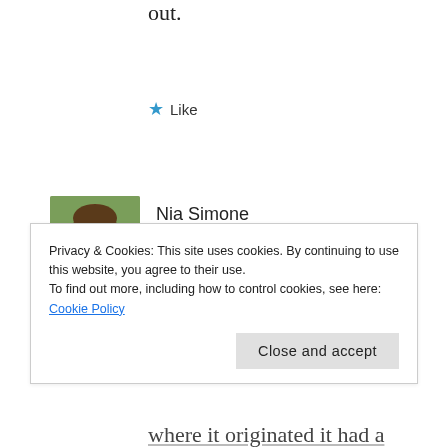out.
★ Like
Nia Simone
JANUARY 29, 2014 AT 7:43 AM
[Figure (photo): Avatar photo of Nia Simone, a woman with brown hair and glasses outdoors with green foliage background]
Yes, I heard about it being everywhere, as far as the eye could see. 😟
Privacy & Cookies: This site uses cookies. By continuing to use this website, you agree to their use.
To find out more, including how to control cookies, see here: Cookie Policy
Close and accept
where it originated it had a